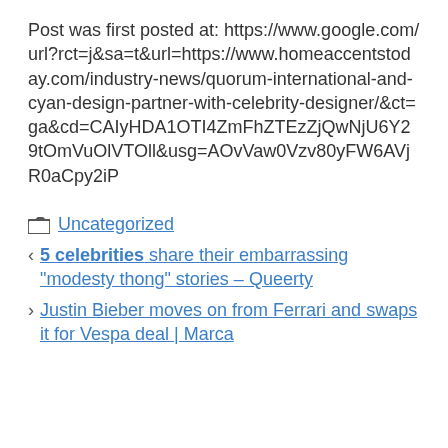Post was first posted at: https://www.google.com/url?rct=j&sa=t&url=https://www.homeaccentstoday.com/industry-news/quorum-international-and-cyan-design-partner-with-celebrity-designer/&ct=ga&cd=CAIyHDA1OTI4ZmFhZTEzZjQwNjU6Y29tOmVuOlVTOll&usg=AOvVaw0Vzv80yFW6AVjR0aCpy2iP
Uncategorized
5 celebrities share their embarrassing "modesty thong" stories – Queerty
Justin Bieber moves on from Ferrari and swaps it for Vespa deal | Marca